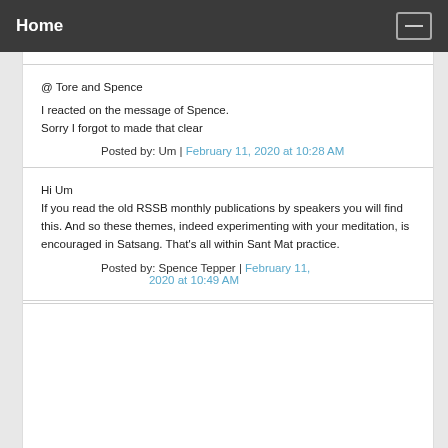Home
@ Tore and Spence

I reacted on the message of Spence.
Sorry I forgot to made that clear

Posted by: Um | February 11, 2020 at 10:28 AM
Hi Um
If you read the old RSSB monthly publications by speakers you will find this. And so these themes, indeed experimenting with your meditation, is encouraged in Satsang. That's all within Sant Mat practice.

Posted by: Spence Tepper | February 11, 2020 at 10:49 AM